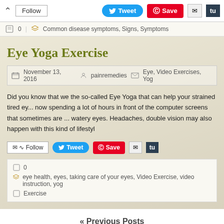Follow | Tweet | Save
Common disease symptoms, Signs, Symptoms
Eye Yoga Exercise
November 13, 2016 | painremedies | Eye, Video Exercises, Yog
Did you know that we the so-called Eye Yoga that can help your strained tired ey... now spending a lot of hours in front of the computer screens that sometimes are ... watery eyes. Headaches, double vision may also happen with this kind of lifestyl
Follow | Tweet | Save
0
eye health, eyes, taking care of your eyes, Video Exercise, video instruction, yog... Exercise
« Previous Posts